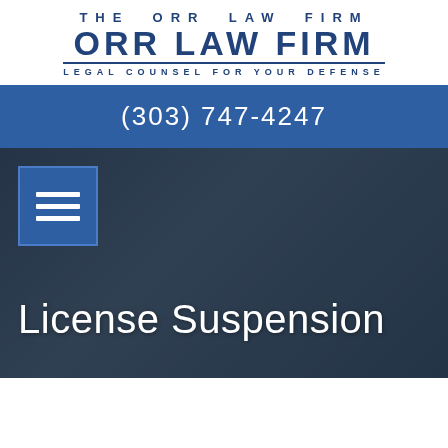[Figure (logo): The Orr Law Firm logo with tagline 'Legal Counsel For Your Defense']
(303) 747-4247
[Figure (photo): Dark car interior/dashboard background image with hamburger menu icon overlay and 'License Suspension' title text]
License Suspension